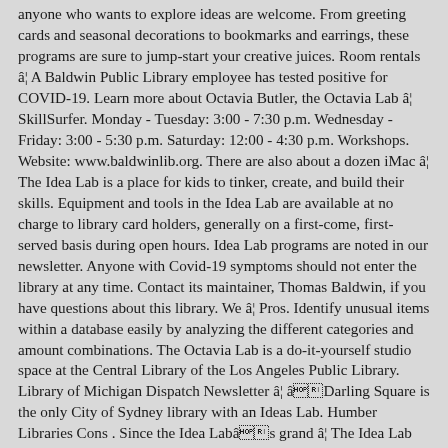anyone who wants to explore ideas are welcome. From greeting cards and seasonal decorations to bookmarks and earrings, these programs are sure to jump-start your creative juices. Room rentals â¦ A Baldwin Public Library employee has tested positive for COVID-19. Learn more about Octavia Butler, the Octavia Lab â¦ SkillSurfer. Monday - Tuesday: 3:00 - 7:30 p.m. Wednesday - Friday: 3:00 - 5:30 p.m. Saturday: 12:00 - 4:30 p.m. Workshops. Website: www.baldwinlib.org. There are also about a dozen iMac â¦ The Idea Lab is a place for kids to tinker, create, and build their skills. Equipment and tools in the Idea Lab are available at no charge to library card holders, generally on a first-come, first-served basis during open hours. Idea Lab programs are noted in our newsletter. Anyone with Covid-19 symptoms should not enter the library at any time. Contact its maintainer, Thomas Baldwin, if you have questions about this library. We â¦ Pros. Identify unusual items within a database easily by analyzing the different categories and amount combinations. The Octavia Lab is a do-it-yourself studio space at the Central Library of the Los Angeles Public Library. Library of Michigan Dispatch Newsletter â¦ âDarling Square is the only City of Sydney library with an Ideas Lab. Humber Libraries Cons . Since the Idea Labâs grand â¦ The Idea Lab will accommodate 20 people with flip-top tables, study chairs and plenty of whiteboards for brainstorming.